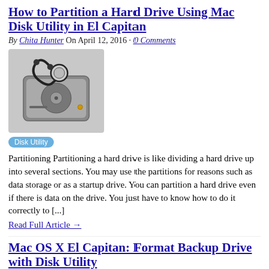How to Partition a Hard Drive Using Mac Disk Utility in El Capitan
By Chita Hunter On April 12, 2016 · 0 Comments
[Figure (photo): Hard drive with stethoscope icon representing Disk Utility application]
Partitioning Partitioning a hard drive is like dividing a hard drive up into several sections. You may use the partitions for reasons such as data storage or as a startup drive. You can partition a hard drive even if there is data on the drive. You just have to know how to do it correctly to [...]
Read Full Article →
Mac OS X El Capitan: Format Backup Drive with Disk Utility
By Chita Hunter On April 1, 2016 · 0 Comments